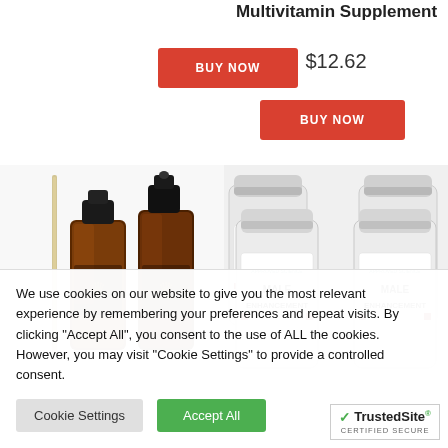Multivitamin Supplement
$12.62
[Figure (photo): Two dark amber glass dropper/tincture bottles with gold crown logos, and a glass dropper rod, on white background]
[Figure (photo): Four white supplement bottles labeled 'Approved Science Male Enhancement' arranged in two rows of two, on white background]
We use cookies on our website to give you the most relevant experience by remembering your preferences and repeat visits. By clicking "Accept All", you consent to the use of ALL the cookies. However, you may visit "Cookie Settings" to provide a controlled consent.